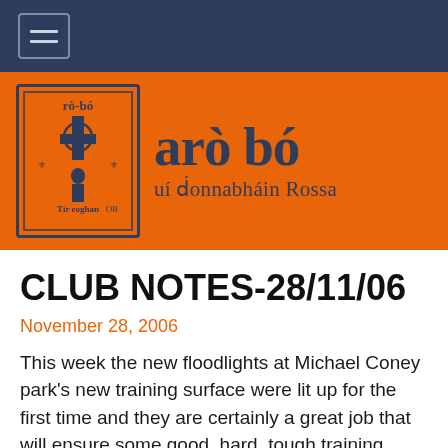Navigation bar with hamburger menu
[Figure (logo): Ard Bó Uí Dhonnabháin Rossa club logo — orange banner with blue Celtic-style crest on left and Irish-language club name text on right]
CLUB NOTES-28/11/06
November 28, 2006
This week the new floodlights at Michael Coney park's new training surface were lit up for the first time and they are certainly a great job that will ensure some good, hard, tough training sessions come next